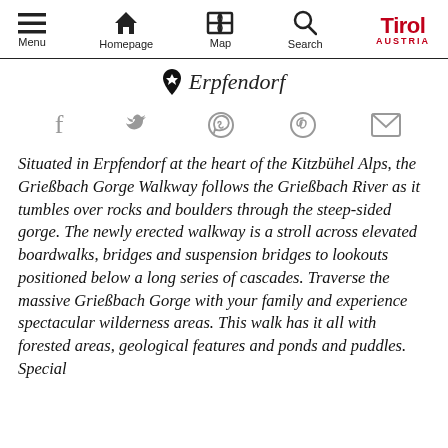Menu | Homepage | Map | Search | Tirol AUSTRIA
Erpfendorf
[Figure (other): Social sharing icons: Facebook, Twitter, WhatsApp, Pinterest, Email]
Situated in Erpfendorf at the heart of the Kitzbühel Alps, the Grießbach Gorge Walkway follows the Grießbach River as it tumbles over rocks and boulders through the steep-sided gorge. The newly erected walkway is a stroll across elevated boardwalks, bridges and suspension bridges to lookouts positioned below a long series of cascades. Traverse the massive Grießbach Gorge with your family and experience spectacular wilderness areas. This walk has it all with forested areas, geological features and ponds and puddles. Special features are the Barefoot Trail and the Stone Circle. Thi